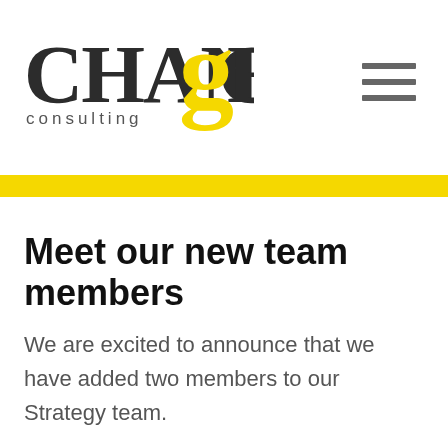[Figure (logo): CHANGE consulting logo with yellow stylized 'g' letterform]
Meet our new team members
We are excited to announce that we have added two members to our Strategy team.